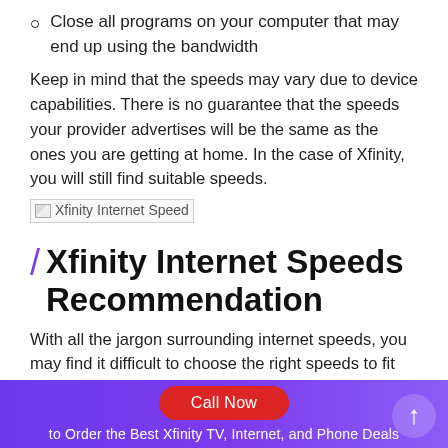Close all programs on your computer that may end up using the bandwidth
Keep in mind that the speeds may vary due to device capabilities. There is no guarantee that the speeds your provider advertises will be the same as the ones you are getting at home. In the case of Xfinity, you will still find suitable speeds.
[Figure (photo): Xfinity Internet Speed image (broken/loading)]
/ Xfinity Internet Speeds Recommendation
With all the jargon surrounding internet speeds, you may find it difficult to choose the right speeds to fit your requirements. Xfinity's most basic plan has speeds up to 50 Mbps. If you go for
Call Now   to Order the Best Xfinity TV, Internet, and Phone Deals